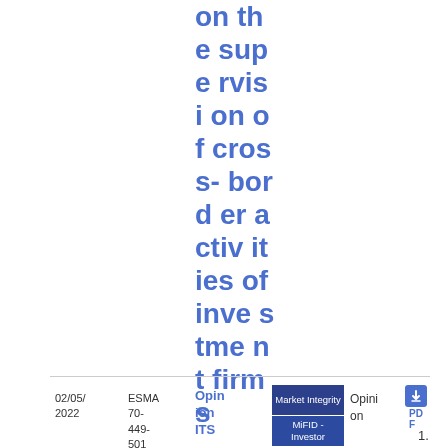on the supervision of cross-border activities of investment firms
02/05/2022 | ESMA 70-449-501 | Opinion ITS ... | Market Integrity | MiFID - Investor | Opinion | PDF | 1.